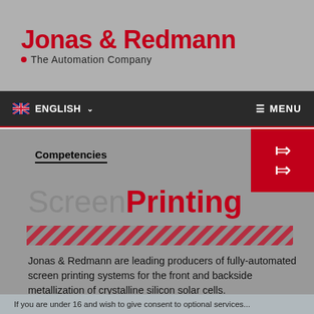[Figure (logo): Jonas & Redmann - The Automation Company logo with red text on gray background]
ENGLISH  ≡ MENU
Competencies
ScreenPrinting
Jonas & Redmann are leading producers of fully-automated screen printing systems for the front and backside metallization of crystalline silicon solar cells.
We use cookies on our website. Some of them are essential, while others help us to improve this website and your experience.
If you are under 16 and wish to give consent to optional services...